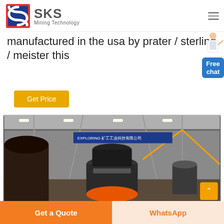SKS Mining Technology
manufactured in the usa by prater / sterling / meister this
Get Price
[Figure (photo): Industrial factory floor showing large cylindrical mining/crushing equipment with steel structures and banners in the background]
Get a Quote
WhatsApp